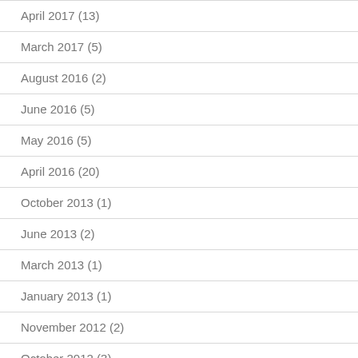April 2017 (13)
March 2017 (5)
August 2016 (2)
June 2016 (5)
May 2016 (5)
April 2016 (20)
October 2013 (1)
June 2013 (2)
March 2013 (1)
January 2013 (1)
November 2012 (2)
October 2012 (3)
Meta